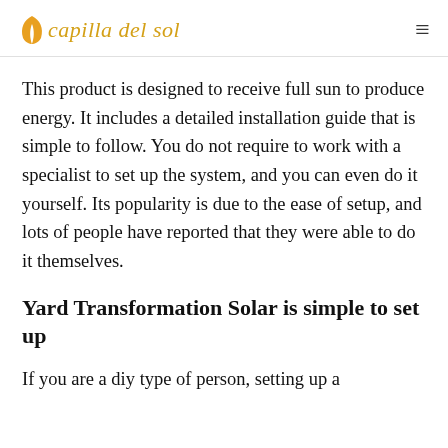capilla del sol
This product is designed to receive full sun to produce energy. It includes a detailed installation guide that is simple to follow. You do not require to work with a specialist to set up the system, and you can even do it yourself. Its popularity is due to the ease of setup, and lots of people have reported that they were able to do it themselves.
Yard Transformation Solar is simple to set up
If you are a diy type of person, setting up a